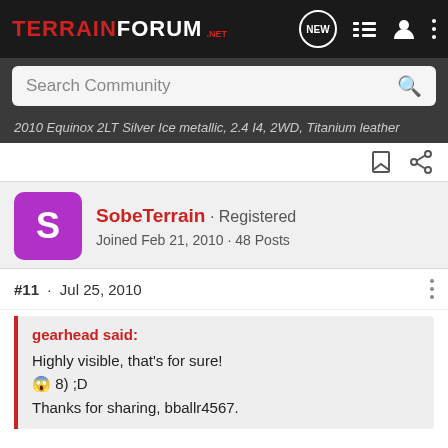TERRAIN FORUM .NET — Search Community
2010 Equinox 2LT Silver Ice metallic, 2.4 I4, 2WD, Titanium leather
SobeTerrain · Registered
Joined Feb 21, 2010 · 48 Posts
#11 · Jul 25, 2010
gearhead said:
Highly visible, that's for sure!
😱 8) ;D
Thanks for sharing, bballr4567.
That is one UGLY yellow!